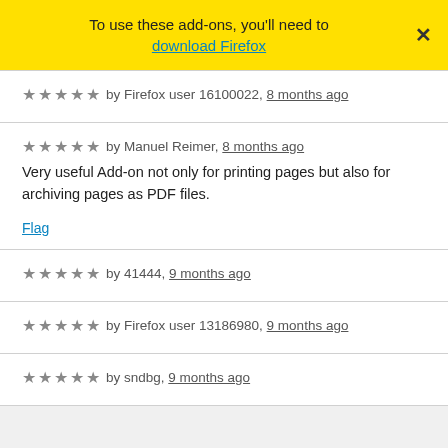To use these add-ons, you'll need to download Firefox
★★★★★ by Firefox user 16100022, 8 months ago
★★★★★ by Manuel Reimer, 8 months ago
Very useful Add-on not only for printing pages but also for archiving pages as PDF files.
Flag
★★★★★ by 41444, 9 months ago
★★★★★ by Firefox user 13186980, 9 months ago
★★★★★ by sndbg, 9 months ago